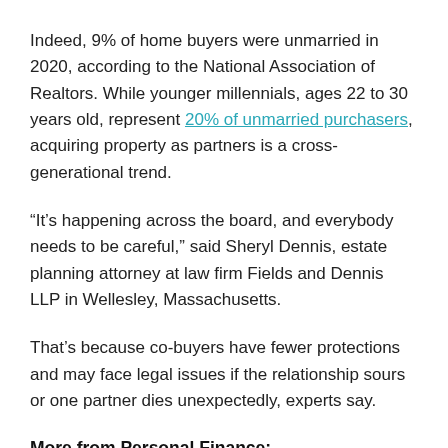Indeed, 9% of home buyers were unmarried in 2020, according to the National Association of Realtors. While younger millennials, ages 22 to 30 years old, represent 20% of unmarried purchasers, acquiring property as partners is a cross-generational trend.
“It’s happening across the board, and everybody needs to be careful,” said Sheryl Dennis, estate planning attorney at law firm Fields and Dennis LLP in Wellesley, Massachusetts.
That’s because co-buyers have fewer protections and may face legal issues if the relationship sours or one partner dies unexpectedly, experts say.
More from Personal Finance:
How to help your co-buyer afford it that is the key for...